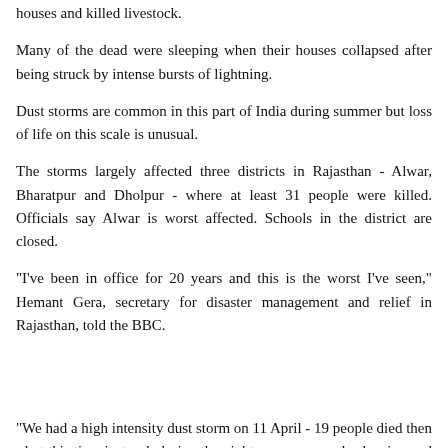houses and killed livestock.
Many of the dead were sleeping when their houses collapsed after being struck by intense bursts of lightning.
Dust storms are common in this part of India during summer but loss of life on this scale is unusual.
The storms largely affected three districts in Rajasthan - Alwar, Bharatpur and Dholpur - where at least 31 people were killed. Officials say Alwar is worst affected. Schools in the district are closed.
"I've been in office for 20 years and this is the worst I've seen," Hemant Gera, secretary for disaster management and relief in Rajasthan, told the BBC.
"We had a high intensity dust storm on 11 April - 19 people died then - but this time it struck during the night so many people sleeping and couldn't get out of their houses when mud walls collapsed."